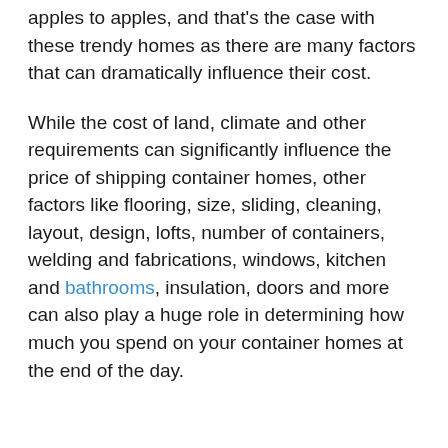apples to apples, and that's the case with these trendy homes as there are many factors that can dramatically influence their cost.
While the cost of land, climate and other requirements can significantly influence the price of shipping container homes, other factors like flooring, size, sliding, cleaning, layout, design, lofts, number of containers, welding and fabrications, windows, kitchen and bathrooms, insulation, doors and more can also play a huge role in determining how much you spend on your container homes at the end of the day.